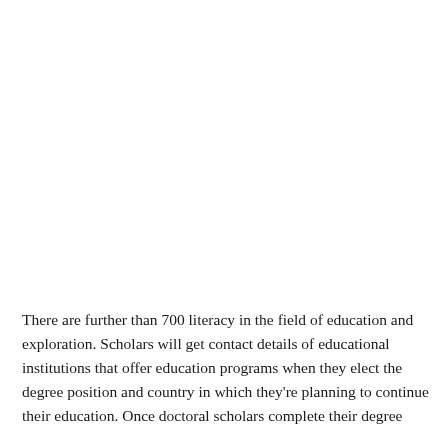There are further than 700 literacy in the field of education and exploration. Scholars will get contact details of educational institutions that offer education programs when they elect the degree position and country in which they're planning to continue their education. Once doctoral scholars complete their degree